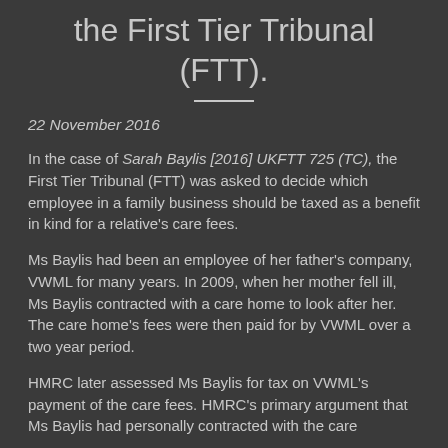the First Tier Tribunal (FTT).
22 November 2016
In the case of Sarah Baylis [2016] UKFTT 725 (TC), the First Tier Tribunal (FTT) was asked to decide which employee in a family business should be taxed as a benefit in kind for a relative's care fees.
Ms Baylis had been an employee of her father's company, VWML for many years. In 2009, when her mother fell ill, Ms Baylis contracted with a care home to look after her. The care home's fees were then paid for by VWML over a two year period.
HMRC later assessed Ms Baylis for tax on VWML's payment of the care fees. HMRC's primary argument that Ms Baylis had personally contracted with the care